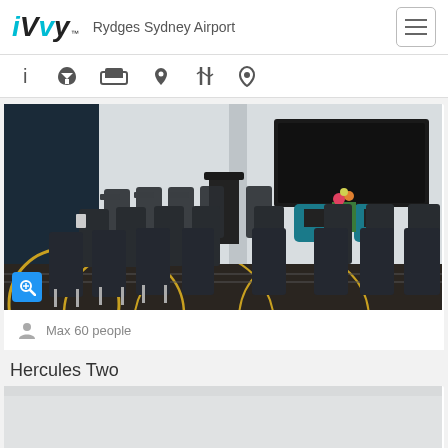iVvy — Rydges Sydney Airport
[Figure (screenshot): Navigation icon bar with info, cocktail, bed, tag, cutlery, and location pin icons]
[Figure (photo): Conference room with rows of dark chairs arranged theatre-style, a podium, flat-screen TV on wall, and two teal accent chairs at the front]
Max 60 people
Hercules Two
[Figure (photo): Partial view of a bright white conference room with recessed ceiling lights]